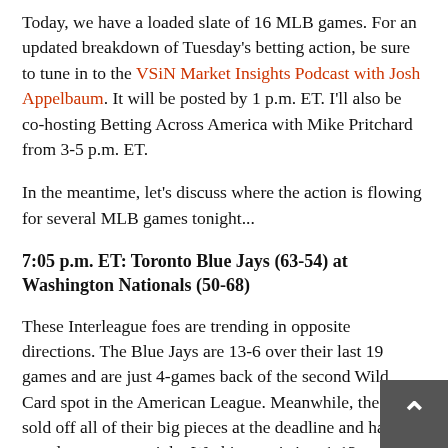Today, we have a loaded slate of 16 MLB games. For an updated breakdown of Tuesday's betting action, be sure to tune in to the VSiN Market Insights Podcast with Josh Appelbaum. It will be posted by 1 p.m. ET. I'll also be co-hosting Betting Across America with Mike Pritchard from 3-5 p.m. ET.
In the meantime, let's discuss where the action is flowing for several MLB games tonight...
7:05 p.m. ET: Toronto Blue Jays (63-54) at Washington Nationals (50-68)
These Interleague foes are trending in opposite directions. The Blue Jays are 13-6 over their last 19 games and are just 4-games back of the second Wild Card spot in the American League. Meanwhile, the Nats sold off all of their big pieces at the deadline and have now lost seven straight. Washington is just 1-12 over their last 13 games. In tonight's series opener,